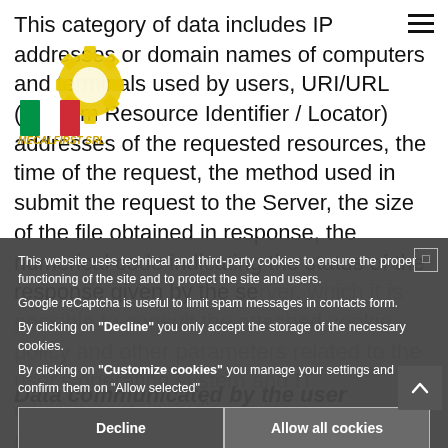This category of data includes IP addresses or domain names of computers and terminals used by users, URI/URL (Uniform Resource Identifier / Locator) addresses of the requested resources, the time of the request, the method used in submit the request to the Server, the size of the file obtained in response, the numerical code indicating the status of the response given by the server, which it is possible to consult the attached cookie policy and other parameters related to the user's operating system and IT environment, including system maintenance.
[Figure (logo): Mecalfirst srl company logo with Italian flag colors and yellow gear icon]
Data communicated by the user
data relating to users who forward requests for information, to the e-mail addresses indicated on the site, the name, contact details and any other personal data...
This website uses technical and third-party cookies to ensure the proper functioning of the site and to protect the site and users.
Google reCaptcha is useful to limit spam messages in contacts form.
By clicking on "Decline" you only accept the storage of the necessary cookies.
By clicking on "Customize cookies" you manage your settings and confirm them on "Allow selected"